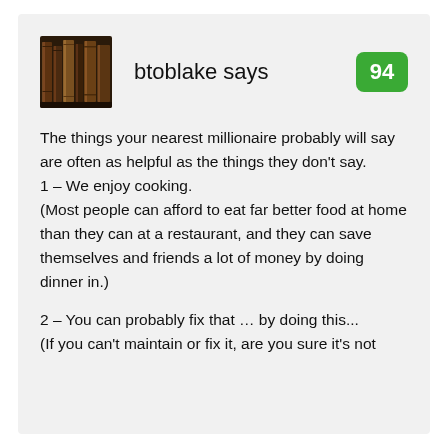[Figure (photo): Avatar image showing a row of old leather-bound books on a shelf]
btoblake says
94
The things your nearest millionaire probably will say are often as helpful as the things they don't say.
1 – We enjoy cooking.
(Most people can afford to eat far better food at home than they can at a restaurant, and they can save themselves and friends a lot of money by doing dinner in.)
2 – You can probably fix that … by doing this...
(If you can't maintain or fix it, are you sure it's not